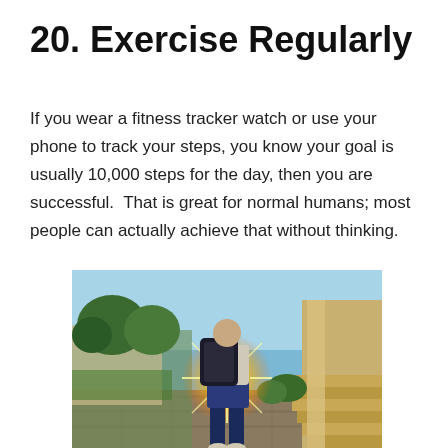20. Exercise Regularly
If you wear a fitness tracker watch or use your phone to track your steps, you know your goal is usually 10,000 steps for the day, then you are successful.  That is great for normal humans; most people can actually achieve that without thinking.
[Figure (photo): Person wearing a backpack walking up stone steps toward bright sunlight, with green trees and a building on the right side]